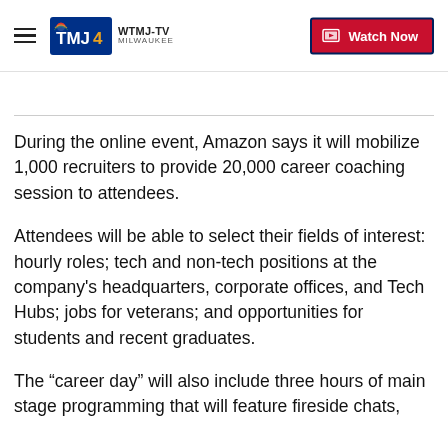WTMJ-TV MILWAUKEE | Watch Now
During the online event, Amazon says it will mobilize 1,000 recruiters to provide 20,000 career coaching session to attendees.
Attendees will be able to select their fields of interest: hourly roles; tech and non-tech positions at the company’s headquarters, corporate offices, and Tech Hubs; jobs for veterans; and opportunities for students and recent graduates.
The “career day” will also include three hours of main stage programming that will feature fireside chats, panel discussions, and interviews with leading…